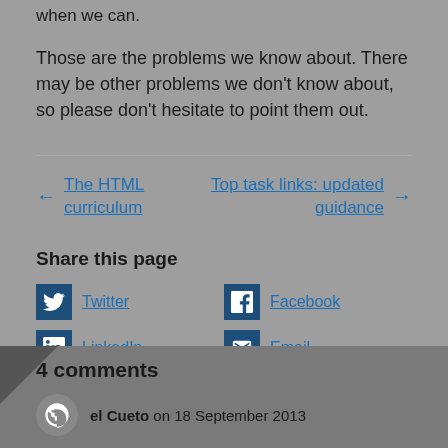when we can.
Those are the problems we know about. There may be other problems we don't know about, so please don't hesitate to point them out.
← The HTML curriculum
Top task links: updated guidance →
Share this page
Twitter
Facebook
LinkedIn
Email
4 comments
el Cueto on 18 September 2013